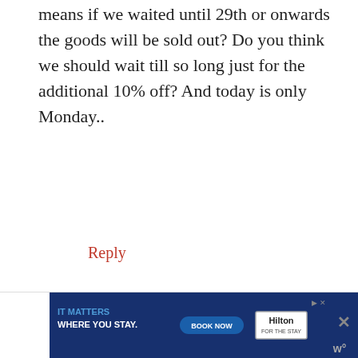means if we waited until 29th or onwards the goods will be sold out? Do you think we should wait till so long just for the additional 10% off? And today is only Monday..
Reply
Comment Policy: At MWS we love reading your comments.
However, if you are new to leaving comments you may benefit from reading the comment policy first.
What's your view? Share it!
[Figure (other): Hilton hotel advertisement banner reading 'IT MATTERS WHERE YOU STAY.' with a BOOK NOW button and Hilton FOR THE STAY logo]